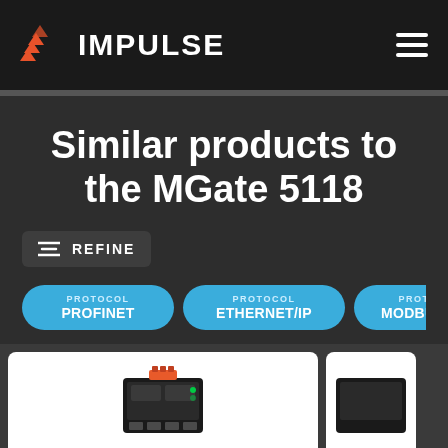IMPULSE
Similar products to the MGate 5118
REFINE
PROTOCOL PROFINET
PROTOCOL ETHERNET/IP
PROTOCOL MODBUS RTU
[Figure (photo): Product image of a networking gateway device (MGate 5118 similar product), showing a small black industrial device with connector ports.]